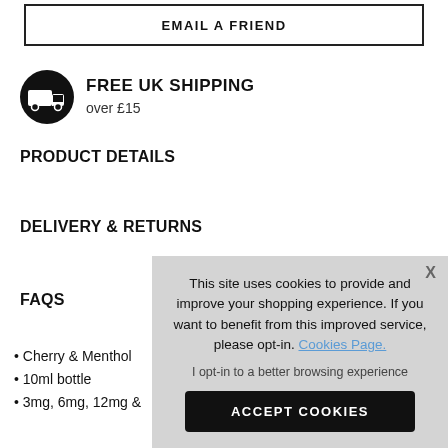EMAIL A FRIEND
[Figure (infographic): Black circle with white delivery truck icon]
FREE UK SHIPPING
over £15
PRODUCT DETAILS
DELIVERY & RETURNS
FAQS
Cherry & Menthol
10ml bottle
3mg, 6mg, 12mg &
50VG/50PG
Suitable for MTL
Produced in the UK
This site uses cookies to provide and improve your shopping experience. If you want to benefit from this improved service, please opt-in. Cookies Page.
I opt-in to a better browsing experience
ACCEPT COOKIES